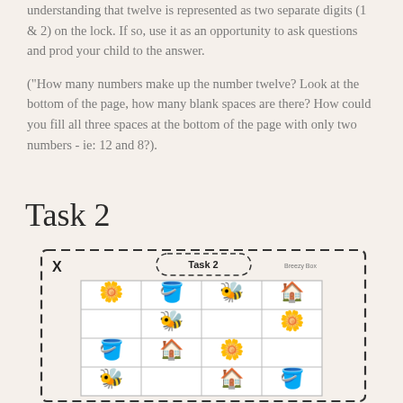understanding that twelve is represented as two separate digits (1 & 2) on the lock. If so, use it as an opportunity to ask questions and prod your child to the answer.
("How many numbers make up the number twelve? Look at the bottom of the page, how many blank spaces are there? How could you fill all three spaces at the bottom of the page with only two numbers - ie: 12 and 8?).
Task 2
[Figure (illustration): Task 2 activity card with dashed border and X mark in top left corner. Contains a 4x4 grid with garden-themed icons: flowers, watering cans, bees, and birdhouses arranged in the grid cells. Header says 'Task 2' with 'Breezy Box' text.]